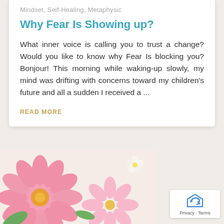Mindset, Self-Healing, Metaphysic
Why Fear Is Showing up?
What inner voice is calling you to trust a change? Would you like to know why Fear Is blocking you? Bonjour! This morning while waking-up slowly, my mind was drifting with concerns toward my children's future and all a sudden I received a ...
READ MORE
[Figure (photo): Pink flowers (dahlias and cosmos) photographed close-up on a light background, bottom portion of page]